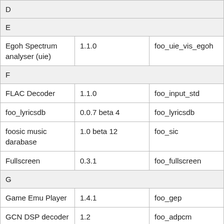| D |  |  |
| E |  |  |
| Egoh Spectrum analyser (uie) | 1.1.0 | foo_uie_vis_egoh |
| F |  |  |
| FLAC Decoder | 1.1.0 | foo_input_std |
| foo_lyricsdb | 0.0.7 beta 4 | foo_lyricsdb |
| foosic music darabase | 1.0 beta 12 | foo_sic |
| Fullscreen | 0.3.1 | foo_fullscreen |
| G |  |  |
| Game Emu Player | 1.4.1 | foo_gep |
| GCN DSP decoder | 1.2 | foo_adpcm |